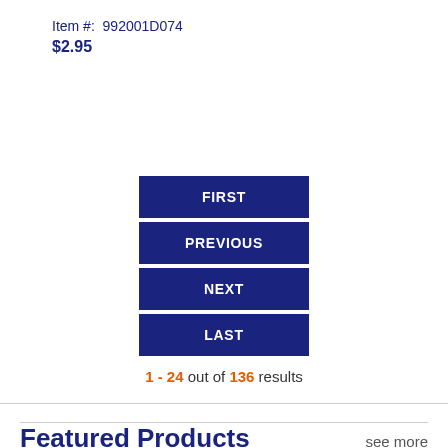Item #:  992001D074
$2.95
FIRST
PREVIOUS
NEXT
LAST
1 - 24 out of 136 results
Featured Products
see more
[Figure (photo): Two product thumbnail images at bottom of page - left is a colorful red/teal image, right is a dark red book cover with yellow star decorations and italic text reading 'The Complete Jewish Songbook']